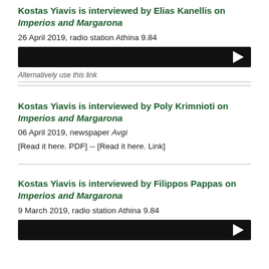Kostas Yiavis is interviewed by Elias Kanellis on Imperios and Margarona
26 April 2019, radio station Athina 9.84
[Figure (other): Audio player bar with play button]
Alternatively use this link
Kostas Yiavis is interviewed by Poly Krimnioti on Imperios and Margarona
06 April 2019, newspaper Avgi
[Read it here. PDF] -- [Read it here. Link]
Kostas Yiavis is interviewed by Filippos Pappas on Imperios and Margarona
9 March 2019, radio station Athina 9.84
[Figure (other): Audio player bar with play button]